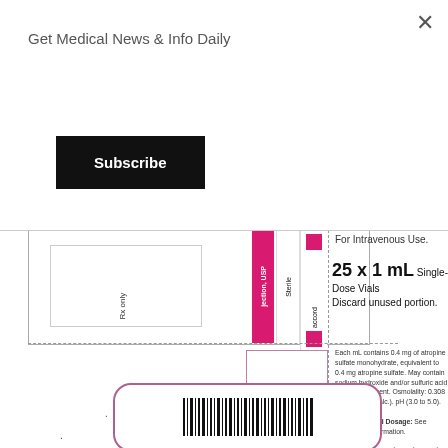Get Medical News & Info Daily
Subscribe
For Intravenous Use.
25 x 1 mL Single-Dose Vials Discard unused portion.
Rx only
jection, USP
Sterile
accord
Each mL contains 0.4 mg of atropine sulfate monohydrate, equivalent to 0.4 mg atropine sulfate. May contain sodium hydroxide and/or sulfuric acid for pH adjustment. Osmolality: 0.308 mOsmol/mL (calc.). pH (3.0 to 5.0).
Recommended Dosage: See prescribing information.
Store at 20°C to 25°C (68°F to 77°F); excursions permitted between 15°C to 30°C [59°F to 86°F] [See USP Controlled Room Temperature.]
[Figure (other): Barcode for pharmaceutical product packaging]